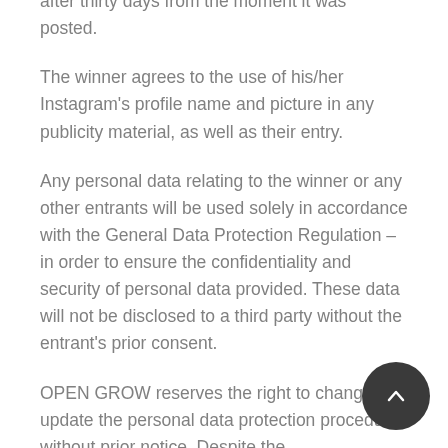after thirty days from the moment it was posted.
The winner agrees to the use of his/her Instagram's profile name and picture in any publicity material, as well as their entry.
Any personal data relating to the winner or any other entrants will be used solely in accordance with the General Data Protection Regulation – in order to ensure the confidentiality and security of personal data provided. These data will not be disclosed to a third party without the entrant's prior consent.
OPEN GROW reserves the right to change and update the personal data protection procedures without prior notice. Despite the aforementioned protection procedures, there are risks of using the Internet which OPEN GROW has no control.